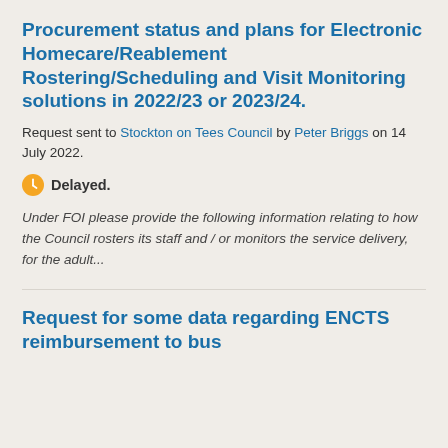Procurement status and plans for Electronic Homecare/Reablement Rostering/Scheduling and Visit Monitoring solutions in 2022/23 or 2023/24.
Request sent to Stockton on Tees Council by Peter Briggs on 14 July 2022.
Delayed.
Under FOI please provide the following information relating to how the Council rosters its staff and / or monitors the service delivery, for the adult...
Request for some data regarding ENCTS reimbursement to bus